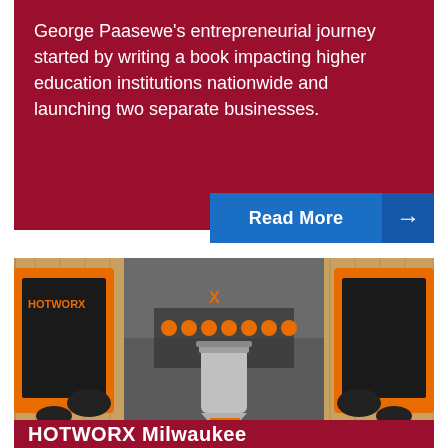George Paasewe's entrepreneurial journey started by writing a book impacting higher education institutions nationwide and launching two separate businesses.
Read More →
[Figure (photo): Interior hallway of a HOTWORX fitness studio with wooden sauna pods on both sides, orange workout equipment visible in the background, grey carpet floor, and a stainless steel heating device in the center foreground.]
HOTWORX Milwaukee